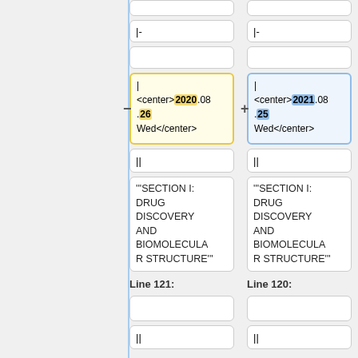|-
|-
| <center>2020.08.26 Wed</center>
| <center>2021.08.25 Wed</center>
||
||
'''SECTION I: DRUG DISCOVERY AND BIOMOLECULAR STRUCTURE'''
'''SECTION I: DRUG DISCOVERY AND BIOMOLECULAR STRUCTURE'''
Line 121:
Line 120:
||
||